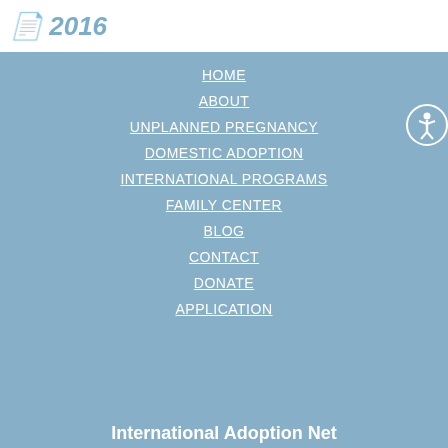2016
HOME
ABOUT
UNPLANNED PREGNANCY
DOMESTIC ADOPTION
INTERNATIONAL PROGRAMS
FAMILY CENTER
BLOG
CONTACT
DONATE
APPLICATION
International Adoption Net